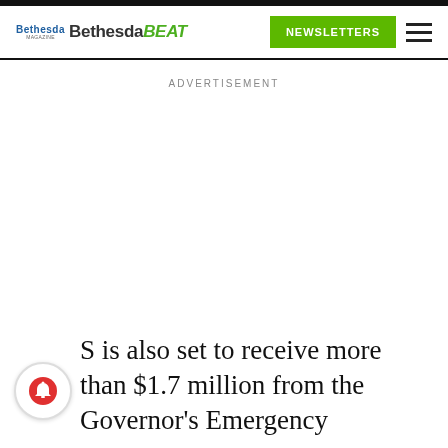Bethesda Bethesda BEAT — NEWSLETTERS
ADVERTISEMENT
S is also set to receive more than $1.7 million from the Governor's Emergency